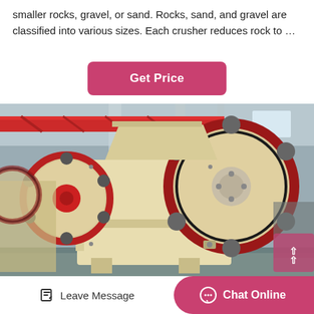smaller rocks, gravel, or sand. Rocks, sand, and gravel are classified into various sizes. Each crusher reduces rock to …
[Figure (other): Pink/crimson rounded rectangle button labeled 'Get Price']
[Figure (photo): Industrial jaw crusher machine with large red and black flywheels, cream/beige painted body, photographed inside a factory warehouse with red overhead crane beams visible.]
Leave Message
Chat Online